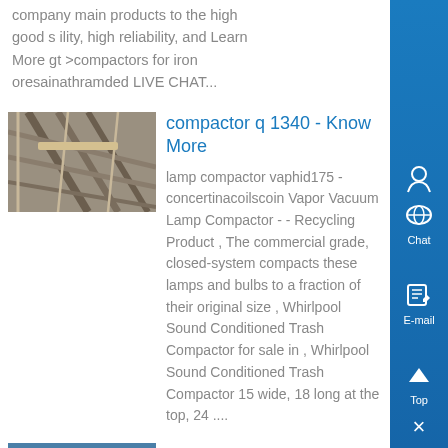company main products to the high good s ility, high reliability, and Learn More gt >compactors for iron oresainathramded LIVE CHAT...
[Figure (photo): Wooden scaffolding or formwork structure, viewed from below at an angle]
compactor q 1340 - Know More
lamp compactor vaphid175 - concertinacoilscoin Vapor Vacuum Lamp Compactor - - Recycling Product , The commercial grade, closed-system compacts these lamps and bulbs to a fraction of their original size , Whirlpool Sound Conditioned Trash Compactor for sale in , Whirlpool Sound Conditioned Trash Compactor 15 wide, 18 long at the top, 24 ....
[Figure (photo): Partial view of another image at the bottom of the page]